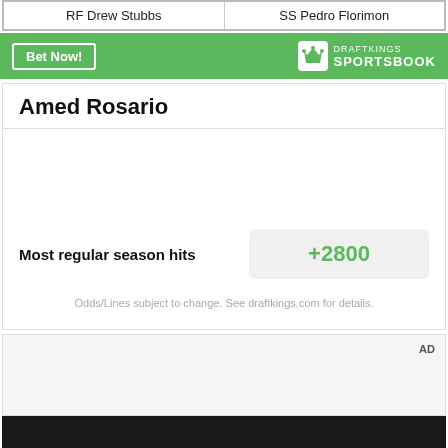RF Drew Stubbs | SS Pedro Florimon
[Figure (other): DraftKings Sportsbook banner with Bet Now button and logo]
Amed Rosario
Most regular season hits
+2800
Odds/Lines subject to change. See draftkings.com for details.
AD
[Figure (photo): Dark background image at bottom of page]